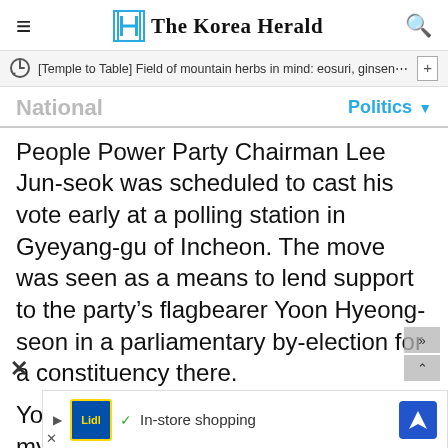The Korea Herald
[Temple to Table] Field of mountain herbs in mind: eosuri, ginsen…
National   Politics
People Power Party Chairman Lee Jun-seok was scheduled to cast his vote early at a polling station in Gyeyang-gu of Incheon. The move was seen as a means to lend support to the party’s flagbearer Yoon Hyeong-seon in a parliamentary by-election for a constituency there.
Yoon is competing against Lee Jae-myung